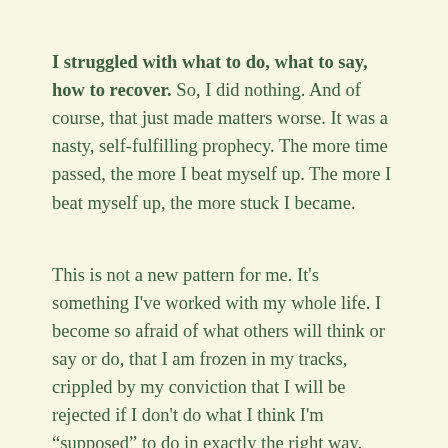I struggled with what to do, what to say, how to recover.  So, I did nothing.  And of course, that just made matters worse.  It was a nasty, self-fulfilling prophecy.  The more time passed, the more I beat myself up.  The more I beat myself up, the more stuck I became.
This is not a new pattern for me.  It's something I've worked with my whole life.  I become so afraid of what others will think or say or do, that I am frozen in my tracks, crippled by my conviction that I will be rejected if I don't do what I think I'm “supposed” to do in exactly the right way.